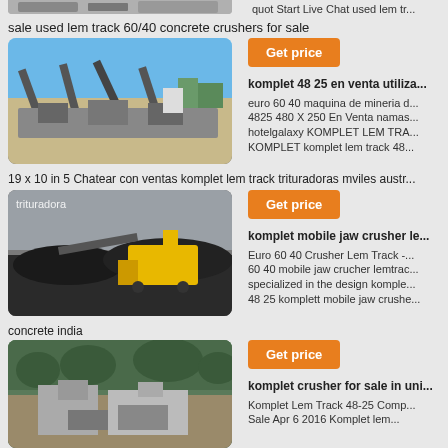[Figure (photo): Partial top image of heavy machinery/trucks]
quot Start Live Chat used lem tr...
sale used lem track 60/40 concrete crushers for sale
[Figure (photo): Industrial crushing/screening plant with conveyor belts against blue sky]
Get price
komplet 48 25 en venta utiliza...
euro 60 40 maquina de mineria d... 4825 480 X 250 En Venta namas... hotelgalaxy KOMPLET LEM TRA... KOMPLET komplet lem track 48...
19 x 10 in 5 Chatear con ventas komplet lem track trituradoras mviles austr...
[Figure (photo): Mobile jaw crusher (yellow) working in a quarry/coal site]
trituradora
Get price
komplet mobile jaw crusher le...
Euro 60 40 Crusher Lem Track -... 60 40 mobile jaw crucher lemtrac... specialized in the design komple... 48 25 komplett mobile jaw crushe...
concrete india
[Figure (photo): Crusher installation in a forested/green hillside area]
Get price
komplet crusher for sale in uni...
Komplet Lem Track 48-25 Comp... Sale Apr 6 2016 Komplet lem...